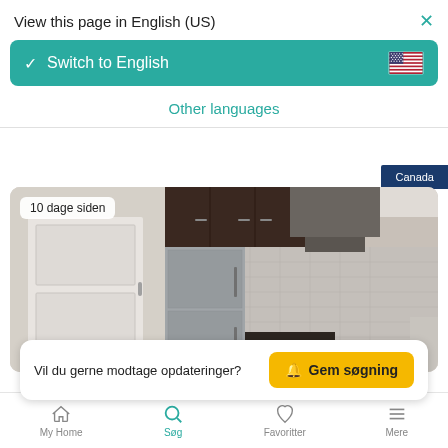View this page in English (US)
[Figure (screenshot): Teal 'Switch to English' button with US flag icon and checkmark]
Other languages
Canada
[Figure (photo): Modern kitchen interior with stainless steel appliances, dark wood cabinets, pendant lights, and marble backsplash. Badge reads '10 dage siden'.]
Vil du gerne modtage opdateringer?
Gem søgning
My Home | Søg | Favoritter | Mere